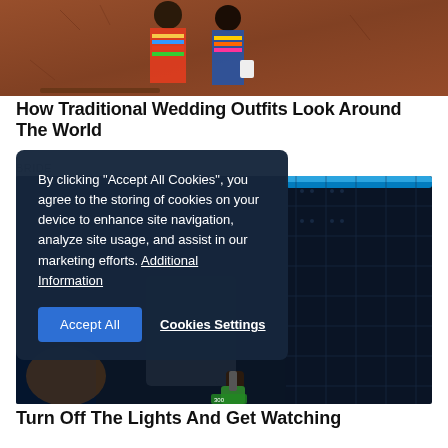[Figure (photo): Two people in colorful traditional African attire standing against a mud/clay wall. They wear bright multicolored beaded jewelry and garments.]
How Traditional Wedding Outfits Look Around The World
BRIDE
[Figure (photo): Dark interior scene with a person in a dark jacket, appears to be illuminated by blue lighting, possibly on public transport or a vehicle.]
By clicking "Accept All Cookies", you agree to the storing of cookies on your device to enhance site navigation, analyze site usage, and assist in our marketing efforts. Additional Information
Turn Off The Lights And Get Watching